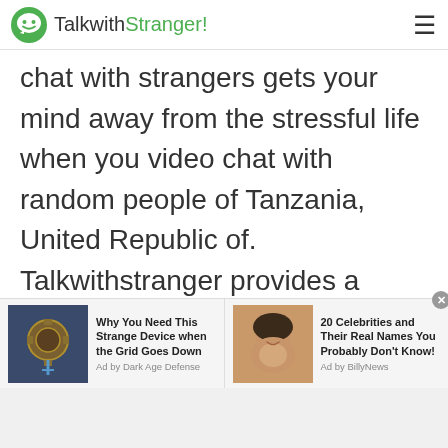TalkwithStranger!
chat with strangers gets your mind away from the stressful life when you video chat with random people of Tanzania, United Republic of. Talkwithstranger provides a gateway to some me time where adults, teens and kids can have free chat, random chat, stranger chat whether text chat
[Figure (infographic): Advertisement banner with two ad items: 1) 'Why You Need This Strange Device when the Grid Goes Down' - Ad by Dark Age Defense, with steampunk device image. 2) '20 Celebrities and Their Real Names You Probably Don't Know!' - Ad by BillyNews, with Oprah Winfrey image. Close button (x) in top right corner.]